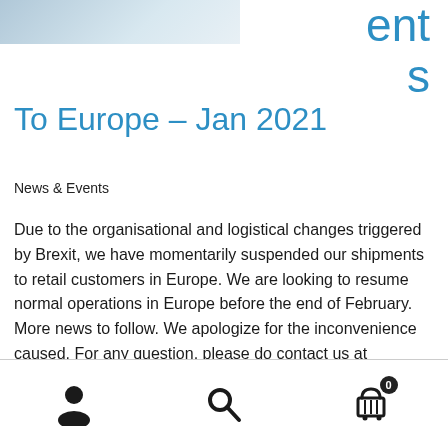[Figure (photo): Partial blue/grey gradient image cropped at top left]
ents
To Europe – Jan 2021
News & Events
Due to the organisational and logistical changes triggered by Brexit, we have momentarily suspended our shipments to retail customers in Europe. We are looking to resume normal operations in Europe before the end of February. More news to follow. We apologize for the inconvenience caused. For any question, please do contact us at hello@sicoffee.co.uk
Navigation icons: user, search, cart (0)